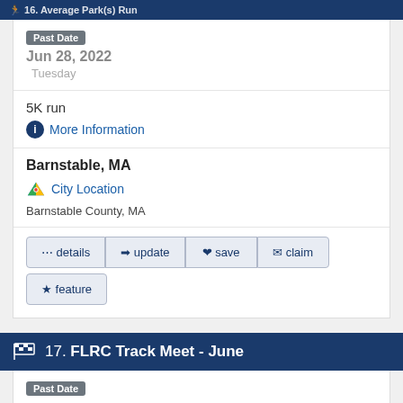16. Average Park(s) Run
Past Date
Jun 28, 2022
Tuesday
5K run
More Information
Barnstable, MA
City Location
Barnstable County, MA
details  update  save  claim  feature
17. FLRC Track Meet - June
Past Date